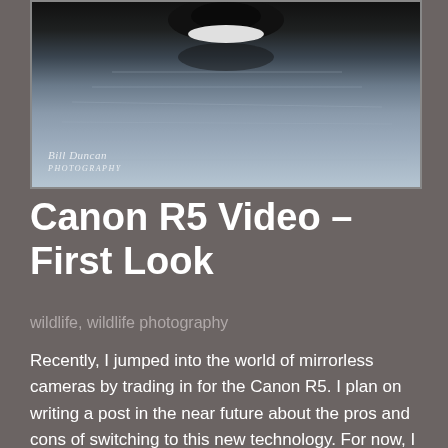[Figure (photo): A bird (likely a goose or duck) floating on water, photographed from above. The bird has dark black plumage with a white patch. Water shows rippled reflections. A photographer's watermark 'Bill Duncan Photography' appears in the lower left of the photo.]
Canon R5 Video – First Look
wildlife, wildlife photography
Recently, I jumped into the world of mirrorless cameras by trading in for the Canon R5. I plan on writing a post in the near future about the pros and cons of switching to this new technology. For now, I will say that this is the beginning of a new photography paradigm, not just because they removed the mirror box and much of the remaining mechanical